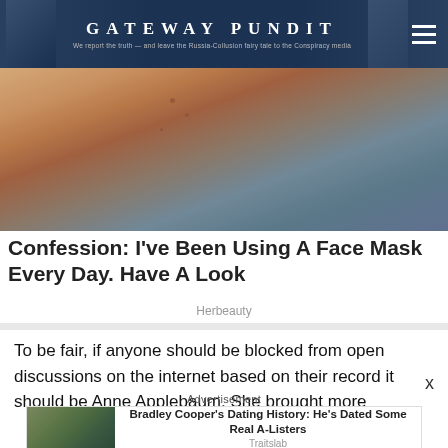GATEWAY PUNDIT — We report the truth — and leave the Russia-Collusion fairy tale to the Conspiracy media
[Figure (photo): Close-up photo of a person's face with skin blemishes, used as article hero image]
Confession: I've Been Using A Face Mask Every Day. Have A Look
Herbeauty
To be fair, if anyone should be blocked from open discussions on the internet based on their record it should be Anne Applebaum.  She brought more
Advertisement
[Figure (photo): Bradley Cooper's Dating History advertisement showing a couple walking together]
Bradley Cooper's Dating History: He's Dated Some Real A-Listers
Traitslab